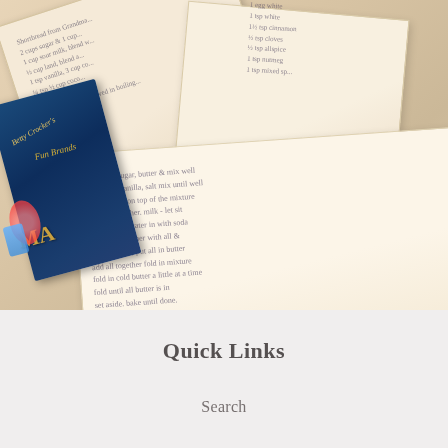[Figure (photo): A collection of old handwritten recipe books and papers piled together, including a Betty Crocker cookbook with a blue cover, surrounded by pages filled with cursive handwriting.]
Quick Links
Search